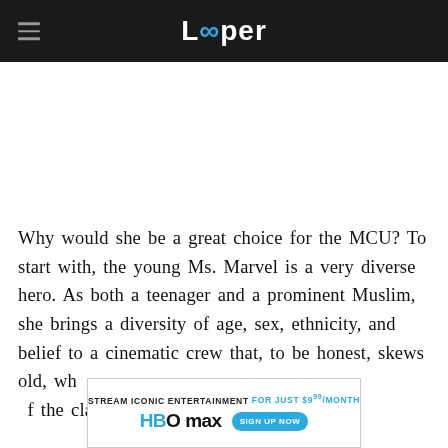Looper
Why would she be a great choice for the MCU? To start with, the young Ms. Marvel is a very diverse hero. As both a teenager and a prominent Muslim, she brings a diversity of age, sex, ethnicity, and belief to a cinematic crew that, to be honest, skews old, wh[...] f the cla[...]
[Figure (other): HBO Max advertisement banner: STREAM ICONIC ENTERTAINMENT FOR JUST $9.99/MONTH — HBO max logo with SIGN UP NOW button]